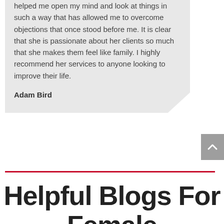helped me open my mind and look at things in such a way that has allowed me to overcome objections that once stood before me. It is clear that she is passionate about her clients so much that she makes them feel like family. I highly recommend her services to anyone looking to improve their life.
Adam Bird
[Figure (other): Red horizontal dividing line]
Helpful Blogs For Female